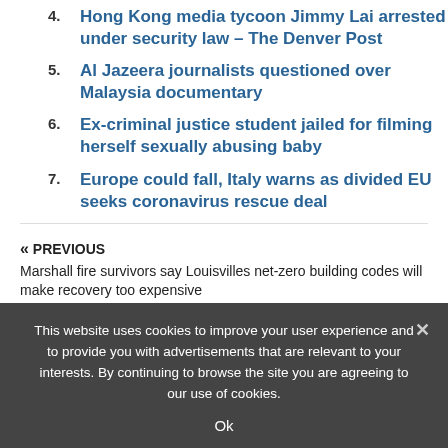4. Hong Kong media tycoon Jimmy Lai arrested under security law – The Denver Post
5. Al Jazeera journalists questioned over Malaysia documentary
6. Ex-criminal justice student jailed for filming herself sexually abusing baby
7. Europe could fall, Italy warns as divided EU seeks coronavirus rescue deal
« PREVIOUS
Marshall fire survivors say Louisvilles net-zero building codes will make recovery too expensive
This website uses cookies to improve your user experience and to provide you with advertisements that are relevant to your interests. By continuing to browse the site you are agreeing to our use of cookies.
Ok